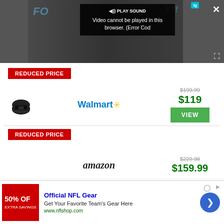[Figure (screenshot): Video player showing error: 'Video cannot be played in this browser. (Error Cod' with PLAY SOUND button, tg badge, close and expand buttons, dark background]
REDUCED PRICE
[Figure (photo): Samsung Galaxy Buds Pro black wireless earbuds product image]
[Figure (logo): Walmart logo with blue text and yellow spark/asterisk]
$199.99 (strikethrough), $119
VIEW
REDUCED PRICE
[Figure (logo): Amazon logo in italic serif font]
$229.98 (strikethrough), $159.99 (partially visible)
[Figure (screenshot): Advertisement bar: Official NFL Gear - Get Your Favorite Team's Gear Here - www.nflshop.com, with red 60% OFF image and blue arrow button]